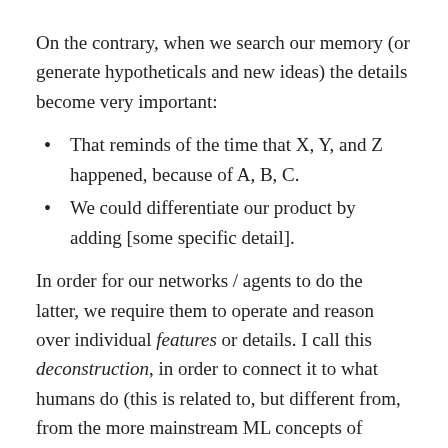On the contrary, when we search our memory (or generate hypotheticals and new ideas) the details become very important:
That reminds of the time that X, Y, and Z happened, because of A, B, C.
We could differentiate our product by adding [some specific detail].
In order for our networks / agents to do the latter, we require them to operate and reason over individual features or details. I call this deconstruction, in order to connect it to what humans do (this is related to, but different from, from the more mainstream ML concepts of feature learning and learned representations). Humans are very good at calling out explicit details, and this is the point of this post: to give our networks explicit representations that they can operate over.